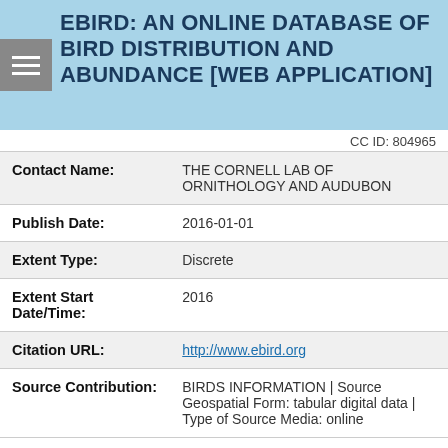EBIRD: AN ONLINE DATABASE OF BIRD DISTRIBUTION AND ABUNDANCE [WEB APPLICATION]
CC ID: 804965
| Contact Name: | THE CORNELL LAB OF ORNITHOLOGY AND AUDUBON |
| Publish Date: | 2016-01-01 |
| Extent Type: | Discrete |
| Extent Start Date/Time: | 2016 |
| Citation URL: | http://www.ebird.org |
| Source Contribution: | BIRDS INFORMATION | Source Geospatial Form: tabular digital data | Type of Source Media: online |